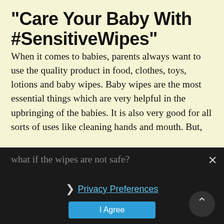"Care Your Baby With #SensitiveWipes"
When it comes to babies, parents always want to use the quality product in food, clothes, toys, lotions and baby wipes.  Baby wipes are the most essential things which are very helpful in the upbringing of the babies. It is also very good for all sorts of uses like cleaning hands and mouth. But, what if the wipes are not safe?
Privacy Preferences
I Agree